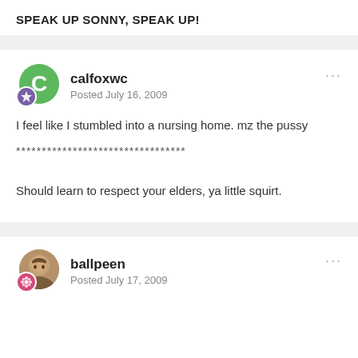SPEAK UP SONNY, SPEAK UP!
calfoxwc
Posted July 16, 2009
I feel like I stumbled into a nursing home. mz the pussy

*********************************

Should learn to respect your elders, ya little squirt.
ballpeen
Posted July 17, 2009